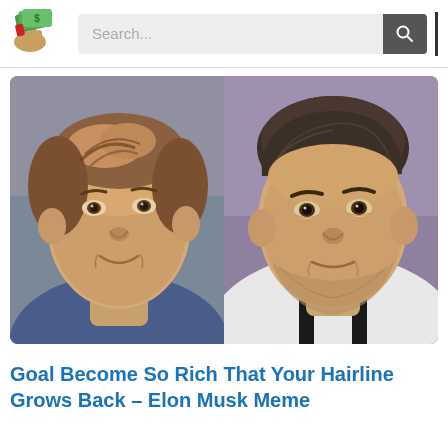Search...
[Figure (photo): Side-by-side comparison photos of Elon Musk: left photo shows him younger with thinning/receding hairline, right photo shows him older with full thick hair.]
Goal Become So Rich That Your Hairline Grows Back – Elon Musk Meme